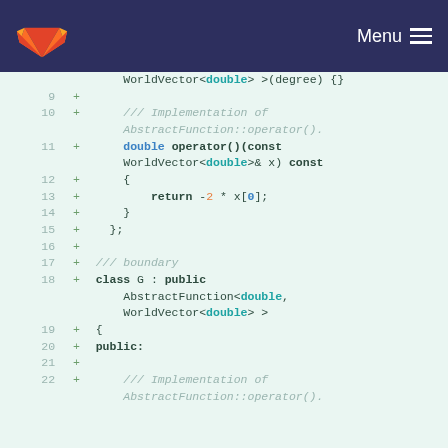GitLab navigation bar with logo and Menu
[Figure (screenshot): Code diff view showing lines 9-22 of a C++ file with added lines (green +). Lines show implementation of class G inheriting from AbstractFunction with WorldVector template types, operator() returning -2 * x[0], and a boundary class G definition.]
WorldVector<double> >(degree) {}
9  +
10 +    /// Implementation of AbstractFunction::operator().
11 +    double operator()(const WorldVector<double>& x) const
12 +    {
13 +        return -2 * x[0];
14 +    }
15 +  };
16 +
17 + /// boundary
18 + class G : public AbstractFunction<double, WorldVector<double> >
19 + {
20 + public:
21 +
22 +    /// Implementation of AbstractFunction::operator().